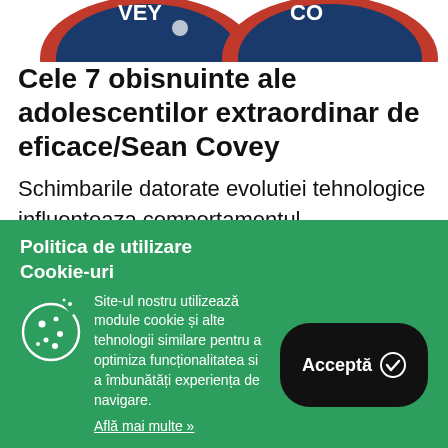[Figure (photo): Partial view of book covers with red borders and blue circular designs, showing 'Covey' text, cropped at top of page]
Cele 7 obisnuinte ale adolescentilor extraordinar de eficace/Sean Covey
Schimbarile datorate evolutiei tehnologice influenteaza comportamentul adolescentilor si viziunea lor asupra vietii in general.
Politica de utilizare Cookie-uri
Site-ul nostru utilizează module cookie și alte tehnologii similare pentru a optimiza funcționalitatea si a îmbunătăți experiența de navigare.
Află mai multe »